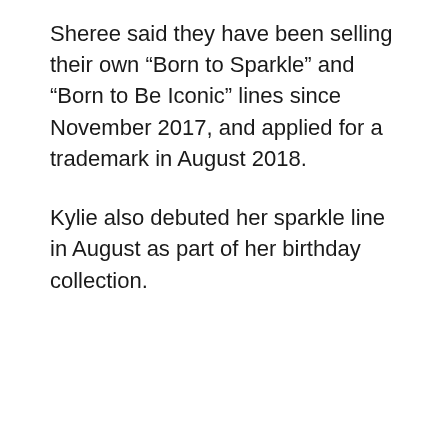Sheree said they have been selling their own “Born to Sparkle” and “Born to Be Iconic” lines since November 2017, and applied for a trademark in August 2018.
Kylie also debuted her sparkle line in August as part of her birthday collection.